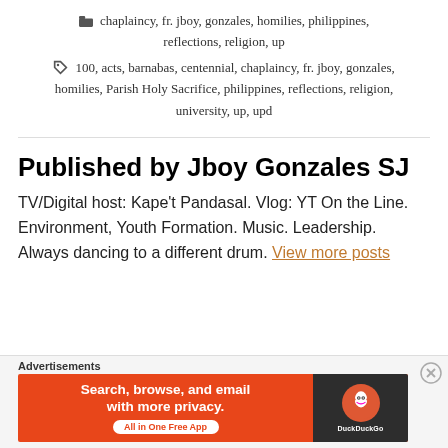chaplaincy, fr. jboy, gonzales, homilies, philippines, reflections, religion, up
100, acts, barnabas, centennial, chaplaincy, fr. jboy, gonzales, homilies, Parish Holy Sacrifice, philippines, reflections, religion, university, up, upd
Published by Jboy Gonzales SJ
TV/Digital host: Kape't Pandasal. Vlog: YT On the Line. Environment, Youth Formation. Music. Leadership. Always dancing to a different drum. View more posts
Advertisements
[Figure (screenshot): DuckDuckGo advertisement banner: orange background with text 'Search, browse, and email with more privacy. All in One Free App' and DuckDuckGo logo on dark background.]